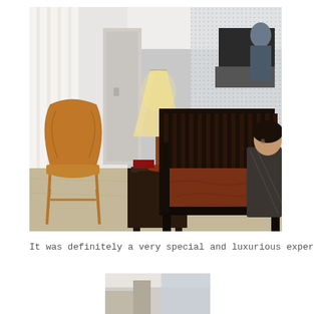[Figure (photo): Interior photo of a modern lounge area with a wooden Scandinavian-style chair on the left, a dark wood side table with a lamp in the center, and a dark sofa with a brown leather seat cushion on the right. A person (woman) is sitting partially visible on the right edge of the sofa. Background shows large windows with sheer curtains and a glass partition wall.]
It was definitely a very special and luxurious experience that I will n
[Figure (photo): Partial photo visible at the bottom center of the page showing what appears to be an interior space, cropped.]